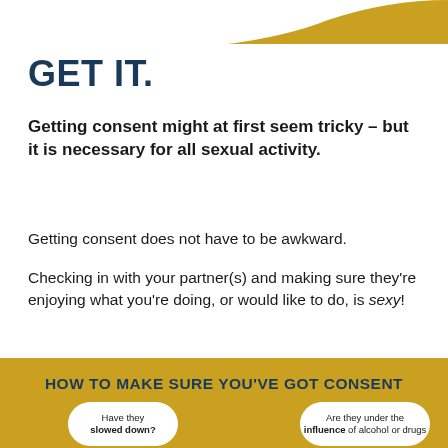[Figure (illustration): Gold decorative curved arc element in top-right corner]
GET IT.
Getting consent might at first seem tricky – but it is necessary for all sexual activity.
Getting consent does not have to be awkward.
Checking in with your partner(s) and making sure they're enjoying what you're doing, or would like to do, is sexy!
HOW TO MAKE SURE YOU'VE GOT CONSENT
Have they slowed down?
Are they under the influence of alcohol or drugs